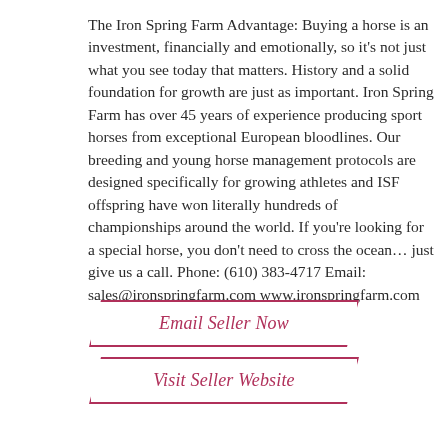The Iron Spring Farm Advantage: Buying a horse is an investment, financially and emotionally, so it's not just what you see today that matters. History and a solid foundation for growth are just as important. Iron Spring Farm has over 45 years of experience producing sport horses from exceptional European bloodlines. Our breeding and young horse management protocols are designed specifically for growing athletes and ISF offspring have won literally hundreds of championships around the world. If you're looking for a special horse, you don't need to cross the ocean… just give us a call. Phone: (610) 383-4717 Email: sales@ironspringfarm.com www.ironspringfarm.com
Email Seller Now
Visit Seller Website